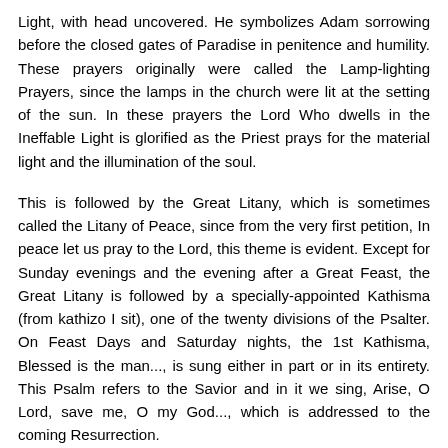Light, with head uncovered. He symbolizes Adam sorrowing before the closed gates of Paradise in penitence and humility. These prayers originally were called the Lamp-lighting Prayers, since the lamps in the church were lit at the setting of the sun. In these prayers the Lord Who dwells in the Ineffable Light is glorified as the Priest prays for the material light and the illumination of the soul.
This is followed by the Great Litany, which is sometimes called the Litany of Peace, since from the very first petition, In peace let us pray to the Lord, this theme is evident. Except for Sunday evenings and the evening after a Great Feast, the Great Litany is followed by a specially-appointed Kathisma (from kathizo I sit), one of the twenty divisions of the Psalter. On Feast Days and Saturday nights, the 1st Kathisma, Blessed is the man..., is sung either in part or in its entirety. This Psalm refers to the Savior and in it we sing, Arise, O Lord, save me, O my God..., which is addressed to the coming Resurrection.